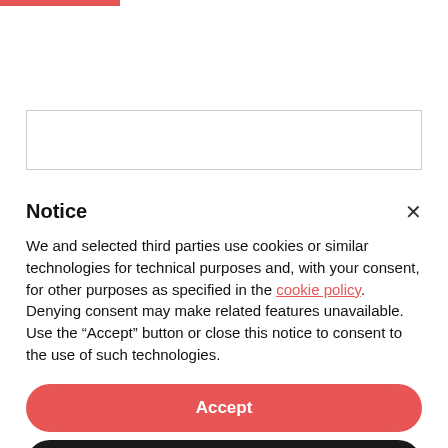[Figure (other): Red horizontal bar at top left of page]
Returning? Log in
Notice
We and selected third parties use cookies or similar technologies for technical purposes and, with your consent, for other purposes as specified in the cookie policy. Denying consent may make related features unavailable.
Use the “Accept” button or close this notice to consent to the use of such technologies.
Accept
Learn more and customize